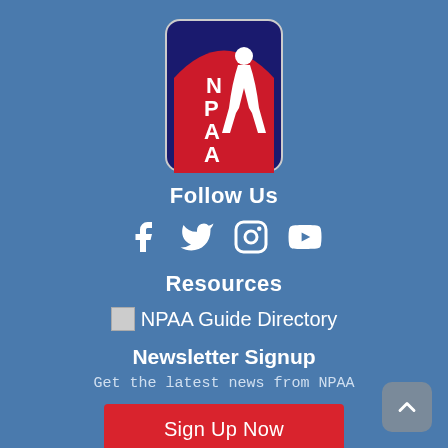[Figure (logo): NPAA logo — rounded rectangle with dark blue background, red arch with white silhouette of a player, white text 'NPAA' stacked vertically]
Follow Us
[Figure (infographic): Social media icons: Facebook, Twitter, Instagram, YouTube — all white on blue background]
Resources
NPAA Guide Directory
Newsletter Signup
Get the latest news from NPAA
Sign Up Now